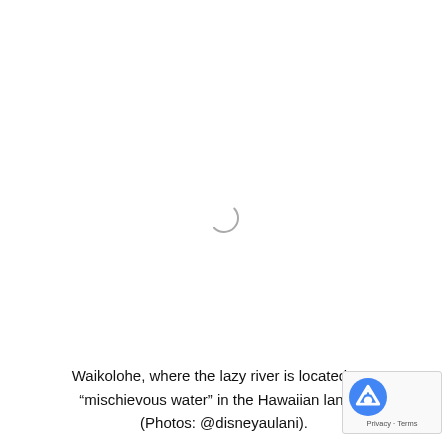[Figure (other): Loading spinner (animated circle arc) centered on a white background, indicating an image is loading.]
Waikolohe, where the lazy river is located, me… “mischievous water” in the Hawaiian langua… (Photos: @disneyaulani).